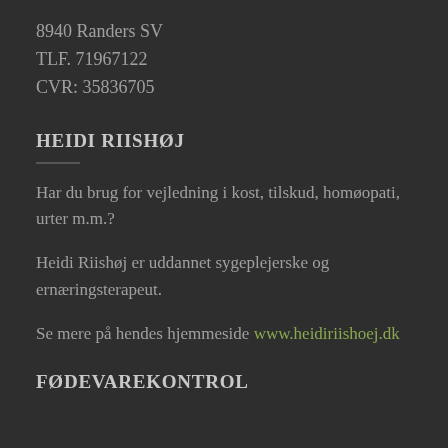8940 Randers SV
TLF. 71967122
CVR: 35836705
HEIDI RIISHØJ
Har du brug for vejledning i kost, tilskud, homøopati, urter m.m.?
Heidi Riishøj er uddannet sygeplejerske og ernæringsterapeut.
Se mere på hendes hjemmeside www.heidiriishoej.dk
FØDEVAREKONTROL